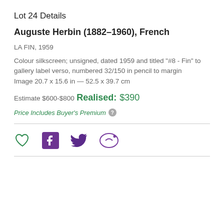Lot 24 Details
Auguste Herbin (1882–1960), French
LA FIN, 1959
Colour silkscreen; unsigned, dated 1959 and titled "#8 - Fin" to gallery label verso, numbered 32/150 in pencil to margin
Image 20.7 x 15.6 in — 52.5 x 39.7 cm
Estimate $600-$800
Realised: $390
Price Includes Buyer's Premium
[Figure (other): Social sharing icons: heart (favourite), Facebook, Twitter, Weibo]